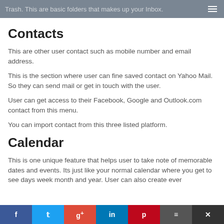Trash. This are basic folders that makes up your Inbox.
Contacts
This are other user contact such as mobile number and email address.
This is the section where user can fine saved contact on Yahoo Mail. So they can send mail or get in touch with the user.
User can get access to their Facebook, Google and Outlook.com contact from this menu.
You can import contact from this three listed platform.
Calendar
This is one unique feature that helps user to take note of memorable dates and events. Its just like your normal calendar where you get to see days week month and year. User can also create ever